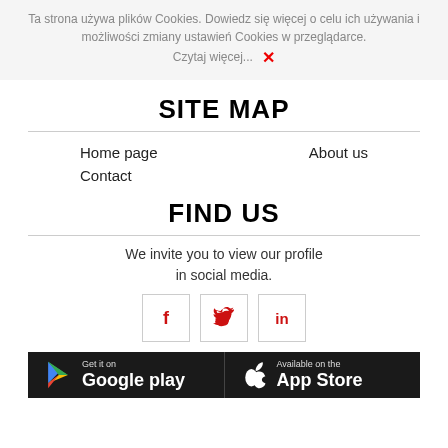Ta strona używa plików Cookies. Dowiedz się więcej o celu ich używania i możliwości zmiany ustawień Cookies w przeglądarce. Czytaj więcej...  ×
SITE MAP
Home page
About us
Contact
FIND US
We invite you to view our profile in social media.
[Figure (infographic): Three social media icon buttons: Facebook (red F), Twitter (red bird), LinkedIn (red in)]
[Figure (infographic): Two app store download buttons: Get it on Google Play and Available on the App Store, both on dark background]